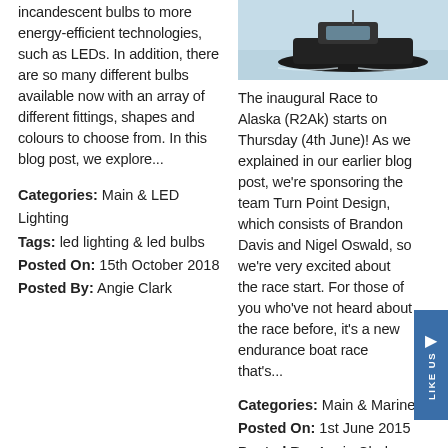incandescent bulbs to more energy-efficient technologies, such as LEDs. In addition, there are so many different bulbs available now with an array of different fittings, shapes and colours to choose from. In this blog post, we explore...
Categories: Main & LED Lighting
Tags: led lighting & led bulbs
Posted On: 15th October 2018
Posted By: Angie Clark
[Figure (photo): A boat or watercraft on water, viewed from above/side, dark hull against light blue water background.]
The inaugural Race to Alaska (R2Ak) starts on Thursday (4th June)! As we explained in our earlier blog post, we're sponsoring the team Turn Point Design, which consists of Brandon Davis and Nigel Oswald, so we're very excited about the race start. For those of you who've not heard about the race before, it's a new endurance boat race that's...
Categories: Main & Marine
Posted On: 1st June 2015
Posted By: Angie Clark